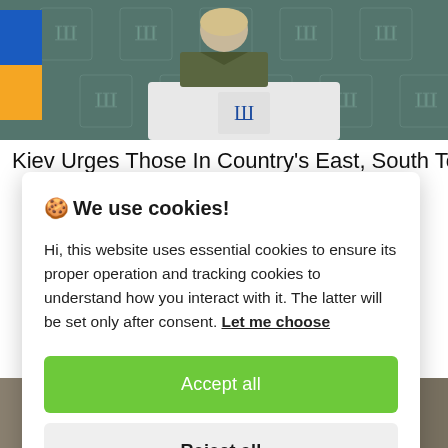[Figure (photo): A woman in olive/khaki jacket standing at a podium with Ukrainian trident emblem, Ukrainian flag visible on the left, official Ukrainian government backdrop with trident symbols behind her.]
Kiev Urges Those In Country's East, South To Flee
🍪 We use cookies!

Hi, this website uses essential cookies to ensure its proper operation and tracking cookies to understand how you interact with it. The latter will be set only after consent. Let me choose

Accept all

Reject all
[Figure (photo): Partial view of another photo at the bottom of the page, partially obscured by the cookie dialog.]